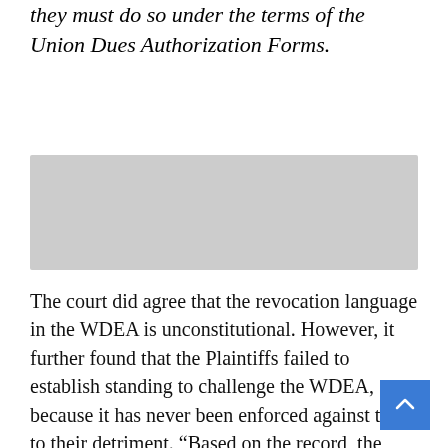they must do so under the terms of the Union Dues Authorization Forms.
[Figure (other): Gray rectangular placeholder box]
The court did agree that the revocation language in the WDEA is unconstitutional. However, it further found that the Plaintiffs failed to establish standing to challenge the WDEA, because it has never been enforced against them to their detriment. “Based on the record, the member plaintiffs cannot establish that they have suffered (or are likely to suffer) an ‘injury-in-